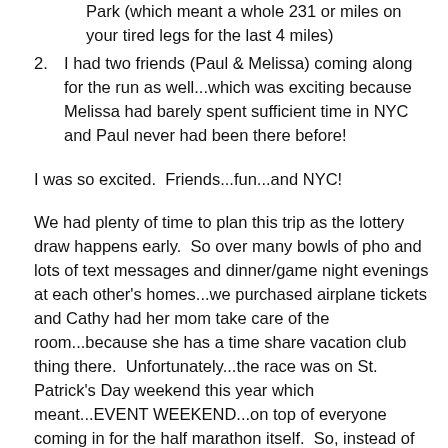Park (which meant a whole 231 or miles on your tired legs for the last 4 miles)
I had two friends (Paul & Melissa) coming along for the run as well...which was exciting because Melissa had barely spent sufficient time in NYC and Paul never had been there before!
I was so excited.  Friends...fun...and NYC!
We had plenty of time to plan this trip as the lottery draw happens early.  So over many bowls of pho and lots of text messages and dinner/game night evenings at each other's homes...we purchased airplane tickets and Cathy had her mom take care of the room...because she has a time share vacation club thing there.  Unfortunately...the race was on St. Patrick's Day weekend this year which meant...EVENT WEEKEND...on top of everyone coming in for the half marathon itself.  So, instead of staying at the nice Manhattan Club that we had come to love in NYC...